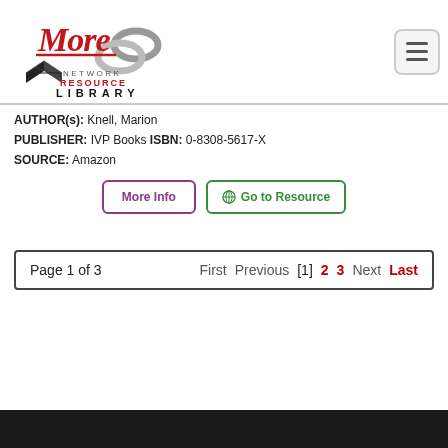[Figure (logo): More Network Resource Library logo with red script 'More' text, chain link graphic, open book graphic, and text 'NETWORK RESOURCE LIBRARY']
AUTHOR(s): Knell, Marion
PUBLISHER: IVP Books ISBN: 0-8308-5617-X
SOURCE: Amazon
More Info
Go to Resource
Page 1 of 3    First  Previous  [1]  2  3  Next  Last